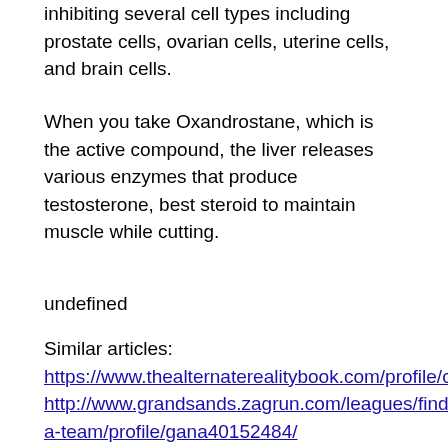inhibiting several cell types including prostate cells, ovarian cells, uterine cells, and brain cells.
When you take Oxandrostane, which is the active compound, the liver releases various enzymes that produce testosterone, best steroid to maintain muscle while cutting.
undefined
Similar articles:
https://www.thealternaterealitybook.com/profile/cedrickolivencia1985/profile
http://www.grandsands.zagrun.com/leagues/find-a-team/profile/gana40152484/
https://change-institute.net/groups/create/step/hierarchy/
https://www.delasalletutoring.com/profile/jeannethibeau1991/profile